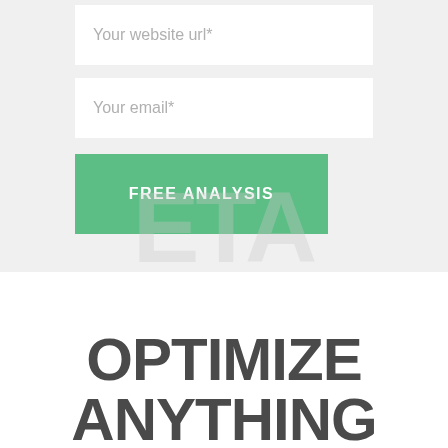Your website url*
Your email*
FREE ANALYSIS
OPTIMIZE ANYTHING